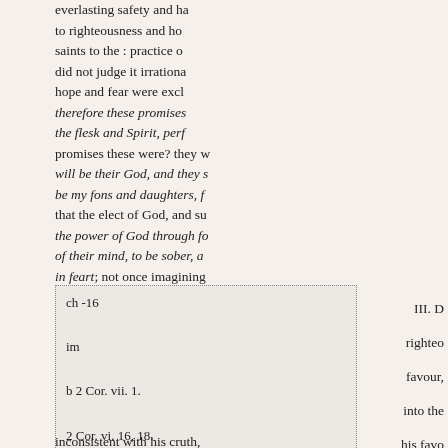everlasting safety and ha to righteousness and ho saints to the : practice o did not judge it irrational hope and fear were excl therefore these promises the flesk and Spirit, perf promises these were? they w will be their God, and they s be my fons and daughters, f that the elect of God, and su the power of God through f of their mind, to be sober, a in feart; not once imagining by the doctrine he had befor proper exercise of them.
| ch -16 |
| im |
| b 2 Cor. vii. 1. |
| 2 Cor. vi. 16, 18. |
III. D righteo favour, into the his favo
inconsistent with his cruth,